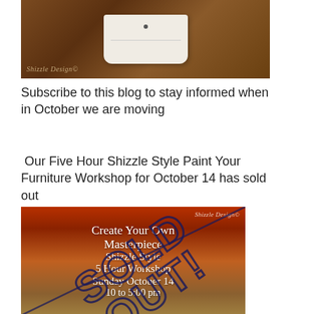[Figure (photo): Photo of a white painted dresser/furniture piece on a dark wood background with 'Shizzle Design©' watermark]
Subscribe to this blog to stay informed when in October we are moving
Our Five Hour Shizzle Style Paint Your Furniture Workshop for October 14 has sold out
[Figure (photo): Workshop poster image with 'Shizzle Design©' watermark showing 'Create Your Own Masterpiece Shizzle Style 5 Hour Workshop Sunday October 14' text with a SOLD OUT stamp overlaid diagonally]